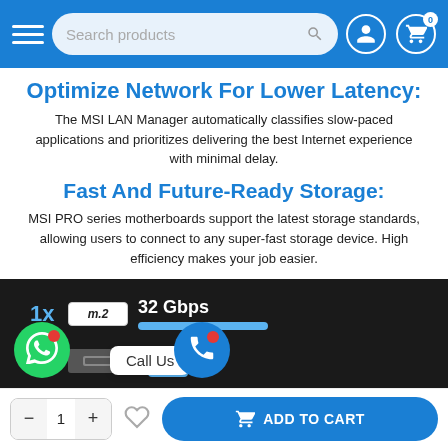Search products — navigation bar with hamburger menu, search, user icon, cart (0)
Optimize Network For Lower Latency:
The MSI LAN Manager automatically classifies slow-paced applications and prioritizes delivering the best Internet experience with minimal delay.
Fast And Future-Ready Storage:
MSI PRO series motherboards support the latest storage standards, allowing users to connect to any super-fast storage device. High efficiency makes your job easier.
[Figure (infographic): Dark panel showing storage specs: 1x M.2 slot at 32 Gbps with blue bar, 4x SATA slot at 6 Gbps with shorter blue bar. A 'Call Us' tooltip overlays the bottom row.]